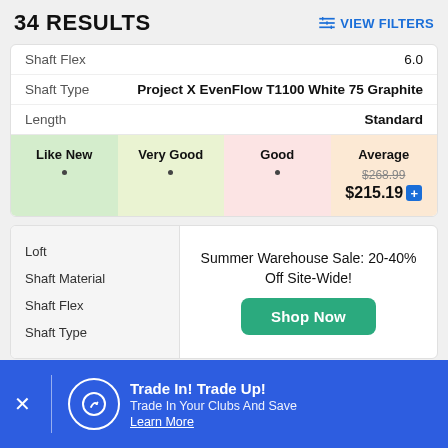34 RESULTS
VIEW FILTERS
| Attribute | Value |
| --- | --- |
| Shaft Flex | 6.0 |
| Shaft Type | Project X EvenFlow T1100 White 75 Graphite |
| Length | Standard |
| Like New | Very Good | Good | Average |
| --- | --- | --- | --- |
| • | • | • | $268.99 / $215.19 |
Loft
Shaft Material
Shaft Flex
Shaft Type
Summer Warehouse Sale: 20-40% Off Site-Wide!
Shop Now
Trade In! Trade Up!
Trade In Your Clubs And Save
Learn More